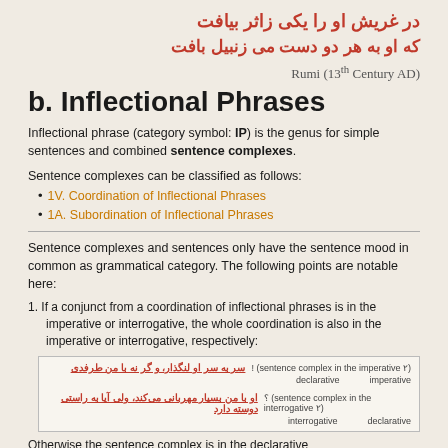در غریش او را یکی زاثر بیافت
که او به هر دو دست می زنبیل بافت
Rumi (13th Century AD)
b. Inflectional Phrases
Inflectional phrase (category symbol: IP) is the genus for simple sentences and combined sentence complexes.
Sentence complexes can be classified as follows:
1V. Coordination of Inflectional Phrases
1A. Subordination of Inflectional Phrases
Sentence complexes and sentences only have the sentence mood in common as grammatical category. The following points are notable here:
1. If a conjunct from a coordination of inflectional phrases is in the imperative or interrogative, the whole coordination is also in the imperative or interrogative, respectively:
[Figure (other): Example box showing two Persian sentence examples with grammatical annotations: first sentence marked as 'sentence complex in the imperative' with declarative and imperative labels; second sentence marked as 'sentence complex in the interrogative' with interrogative and declarative labels.]
Otherwise the sentence complex is in the declarative